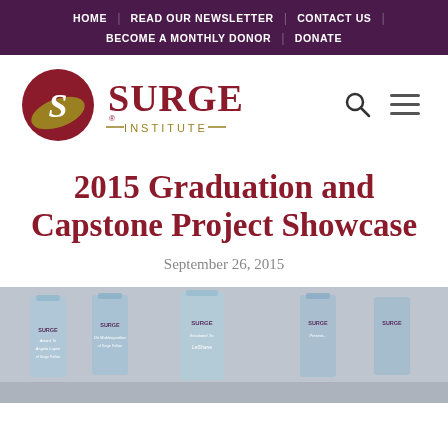HOME | READ OUR NEWSLETTER | CONTACT US | BECOME A MONTHLY DONOR | DONATE
[Figure (logo): Surge Institute logo with circular emblem and text 'SURGE INSTITUTE']
2015 Graduation and Capstone Project Showcase
September 26, 2015
[Figure (photo): Photo of multiple Surge Institute glass awards/trophies lined up showing engraved names]